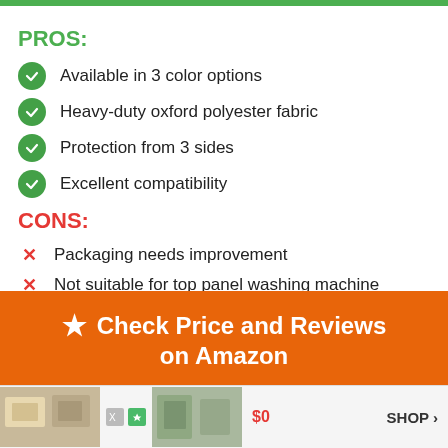PROS:
Available in 3 color options
Heavy-duty oxford polyester fabric
Protection from 3 sides
Excellent compatibility
CONS:
Packaging needs improvement
Not suitable for top panel washing machine
[Figure (infographic): Orange CTA button with star icon: Check Price and Reviews on Amazon]
[Figure (infographic): Advertisement bar at bottom with product images, $0 price, and SHOP arrow link]